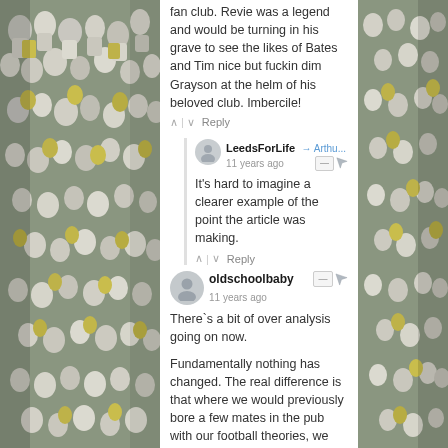[Figure (photo): Crowd of football fans in white and yellow shirts at a stadium, left side background]
fan club. Revie was a legend and would be turning in his grave to see the likes of Bates and Tim nice but fuckin dim Grayson at the helm of his beloved club. Imbercile!
^ | v Reply
LeedsForLife → Arthu... 11 years ago
It's hard to imagine a clearer example of the point the article was making.
^ | v Reply
oldschoolbaby 11 years ago
There`s a bit of over analysis going on now.
Fundamentally nothing has changed. The real difference is that where we would previously bore a few mates in the pub with our football theories, we are now able to bore a considerably wider audience in cyberspace. Moaning, and being
[Figure (photo): Crowd of football fans in white and yellow shirts at a stadium, right side background]